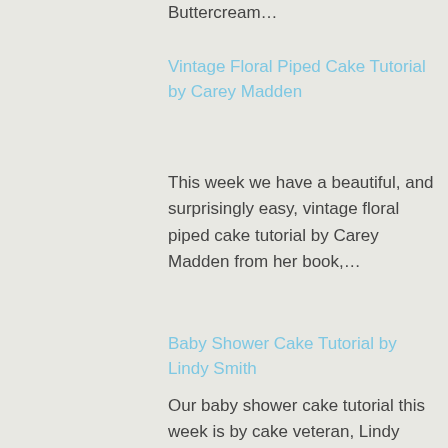Buttercream…
Vintage Floral Piped Cake Tutorial by Carey Madden
This week we have a beautiful, and surprisingly easy, vintage floral piped cake tutorial by Carey Madden from her book,…
Baby Shower Cake Tutorial by Lindy Smith
Our baby shower cake tutorial this week is by cake veteran, Lindy Smith. Lindy has produced yet another best-selling elaborate…